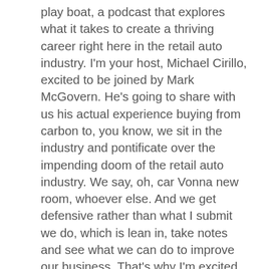play boat, a podcast that explores what it takes to create a thriving career right here in the retail auto industry. I'm your host, Michael Cirillo, excited to be joined by Mark McGovern. He's going to share with us his actual experience buying from carbon to, you know, we sit in the industry and pontificate over the impending doom of the retail auto industry. We say, oh, car Vonna new room, whoever else. And we get defensive rather than what I submit we do, which is lean in, take notes and see what we can do to improve our business. That's why I'm excited to be joined by Mark McGovern. He, as far as I understand, has no ties to any car dealerships, but he's a real customer who purchased a real vehicle who got the coin, who did the whole experience with Carbonneau. And so I thought it would be cool to invite him on the show to share about that experience. And I hope you're paying attention. I hope that you are taking notes so that we can understand specifically from the customer's point of view what led them down that process. So Mark, thanks so much for joining me on the dealer playbook podcast. Thanks for having me. It's great